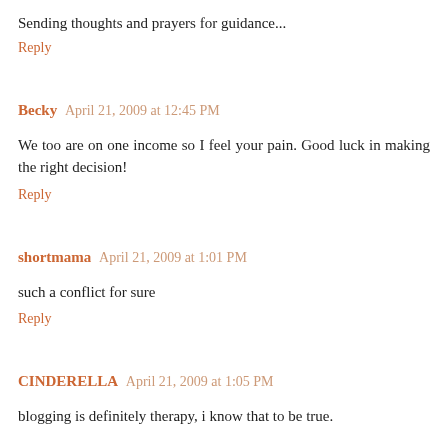Sending thoughts and prayers for guidance...
Reply
Becky April 21, 2009 at 12:45 PM
We too are on one income so I feel your pain. Good luck in making the right decision!
Reply
shortmama April 21, 2009 at 1:01 PM
such a conflict for sure
Reply
CINDERELLA April 21, 2009 at 1:05 PM
blogging is definitely therapy, i know that to be true.
many prayers for you, may the way be shown clearly for you and